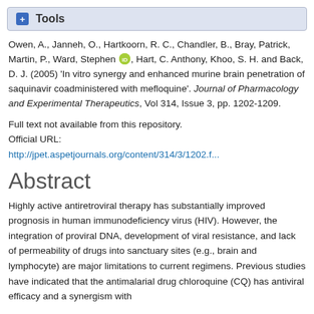+ Tools
Owen, A., Janneh, O., Hartkoorn, R. C., Chandler, B., Bray, Patrick, Martin, P., Ward, Stephen [orcid], Hart, C. Anthony, Khoo, S. H. and Back, D. J. (2005) 'In vitro synergy and enhanced murine brain penetration of saquinavir coadministered with mefloquine'. Journal of Pharmacology and Experimental Therapeutics, Vol 314, Issue 3, pp. 1202-1209.
Full text not available from this repository.
Official URL:
http://jpet.aspetjournals.org/content/314/3/1202.f...
Abstract
Highly active antiretroviral therapy has substantially improved prognosis in human immunodeficiency virus (HIV). However, the integration of proviral DNA, development of viral resistance, and lack of permeability of drugs into sanctuary sites (e.g., brain and lymphocyte) are major limitations to current regimens. Previous studies have indicated that the antimalarial drug chloroquine (CQ) has antiviral efficacy and a synergism with